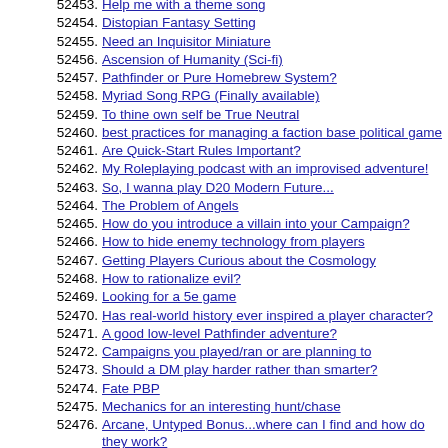52453. Help me with a theme song
52454. Distopian Fantasy Setting
52455. Need an Inquisitor Miniature
52456. Ascension of Humanity (Sci-fi)
52457. Pathfinder or Pure Homebrew System?
52458. Myriad Song RPG (Finally available)
52459. To thine own self be True Neutral
52460. best practices for managing a faction base political game
52461. Are Quick-Start Rules Important?
52462. My Roleplaying podcast with an improvised adventure!
52463. So, I wanna play D20 Modern Future...
52464. The Problem of Angels
52465. How do you introduce a villain into your Campaign?
52466. How to hide enemy technology from players
52467. Getting Players Curious about the Cosmology
52468. How to rationalize evil?
52469. Looking for a 5e game
52470. Has real-world history ever inspired a player character?
52471. A good low-level Pathfinder adventure?
52472. Campaigns you played/ran or are planning to
52473. Should a DM play harder rather than smarter?
52474. Fate PBP
52475. Mechanics for an interesting hunt/chase
52476. Arcane, Untyped Bonus...where can I find and how do they work?
52477. Words of Wisdom for GMs
52478. Advice needed: How do you handle NPC contacts in character creation?
52479. Monster tamer
52480. The Archite Wick [Edition Phase Comparison]